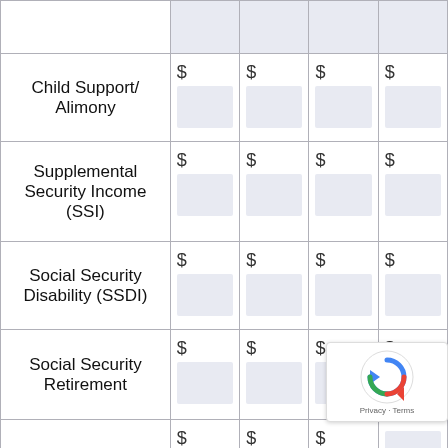| Income Type | Amount 1 | Amount 2 | Amount 3 | Amount 4 |
| --- | --- | --- | --- | --- |
| Child Support/ Alimony | $ | $ | $ | $ |
| Supplemental Security Income (SSI) | $ | $ | $ | $ |
| Social Security Disability (SSDI) | $ | $ | $ | $ |
| Social Security Retirement | $ | $ | $ | $ |
| VA Disability Compensation | $ | $ | $ | $ |